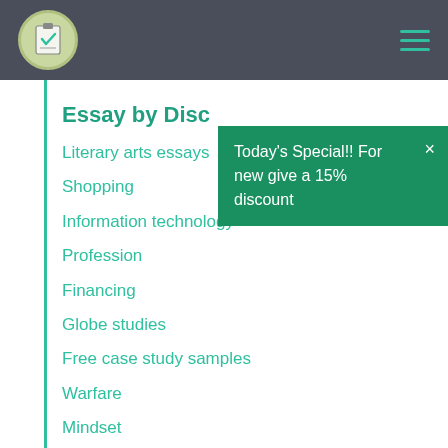Navigation header with logo and hamburger menu
Essay by Disc
Literary arts essays
Shopping
Information technology
Profession
Financing
Globe studies
Free case study samples
Warfare
Mindset
Today's Special!! For new give a 15% discount